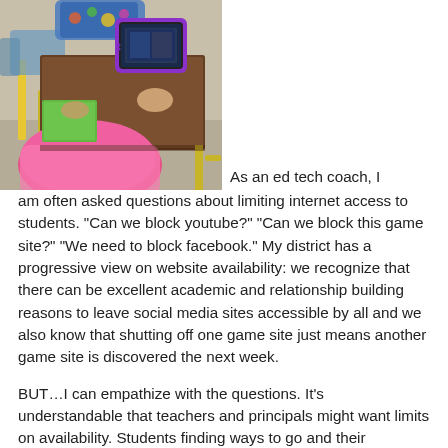[Figure (photo): A student sitting at a school desk using a tablet with a purple case, viewed from above/behind. The student is wearing a pink top. School chairs with yellow legs are visible in the background.]
As an ed tech coach, I am often asked questions about limiting internet access to students. “Can we block youtube?” “Can we block this game site?” “We need to block facebook.” My district has a progressive view on website availability: we recognize that there can be excellent academic and relationship building reasons to leave social media sites accessible by all and we also know that shutting off one game site just means another game site is discovered the next week.
BUT…I can empathize with the questions. It’s understandable that teachers and principals might want limits on availability. Students finding ways to go and their